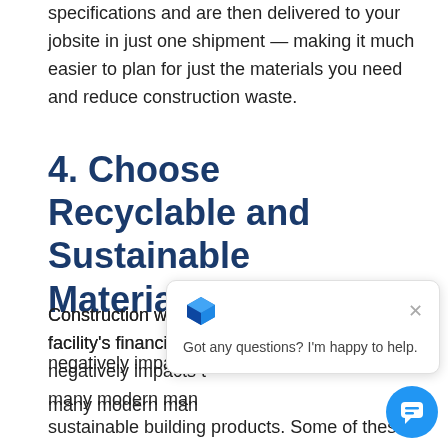specifications and are then delivered to your jobsite in just one shipment — making it much easier to plan for just the materials you need and reduce construction waste.
4. Choose Recyclable and Sustainable Materials
Construction waste doesn't just affect your facility's financial sta[tus — it also] negatively impacts t[he environment. But] many modern man[ufacturers now offer] sustainable building products. Some of these products are fully recyclable, while others a[re] built tough and reduce the need for constant
[Figure (screenshot): Chat widget overlay with a blue cube logo icon, an X close button, and the text 'Got any questions? I'm happy to help.']
[Figure (illustration): Blue circular chat button with white chat bubble icon in the bottom right corner.]